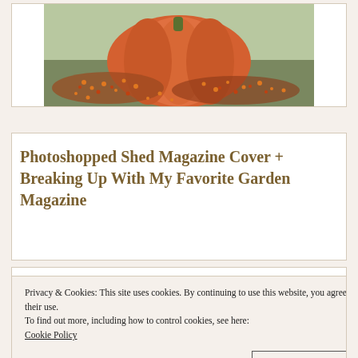[Figure (photo): Pumpkin sitting on fall berries/branches arrangement, orange tones]
Photoshopped Shed Magazine Cover + Breaking Up With My Favorite Garden Magazine
[Figure (photo): Country Gardens magazine cover spread on wooden surface]
Privacy & Cookies: This site uses cookies. By continuing to use this website, you agree to their use.
To find out more, including how to control cookies, see here:
Cookie Policy